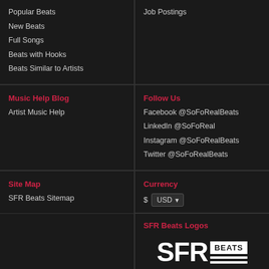Popular Beats
New Beats
Full Songs
Beats with Hooks
Beats Similar to Artists
Job Postings
Follow Us
Facebook @SoFoRealBeats
LinkedIn @SoFoReal
Instagram @SoFoRealBeats
Twitter @SoFoRealBeats
Music Help Blog
Artist Music Help
Site Map
SFR Beats Sitemap
Currency
$ USD
SFR Beats Logos
[Figure (logo): SFR Beats logo with large white SFR text and BEATS label in white box]